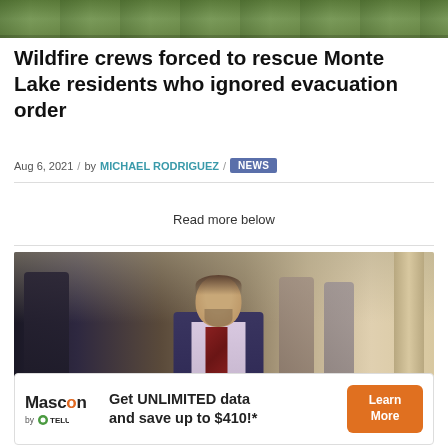[Figure (photo): Top banner photo showing trees and outdoor scenery]
Wildfire crews forced to rescue Monte Lake residents who ignored evacuation order
Aug 6, 2021 / by MICHAEL RODRIGUEZ / NEWS
Read more below
[Figure (photo): Photo of a smiling man in a suit walking down a corridor, with other people in the background]
[Figure (other): Mascon by TELUS advertisement: Get UNLIMITED data and save up to $410!* with Learn More button]